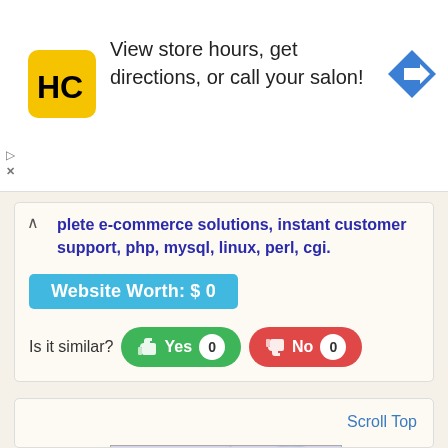[Figure (screenshot): Advertisement banner with HC logo (yellow rounded square with HC text), text 'View store hours, get directions, or call your salon!', and a blue navigation arrow icon on the right. Has collapse/close controls on the left side.]
plete e-commerce solutions, instant customer support, php, mysql, linux, perl, cgi.
Website Worth: $ 0
Is it similar?  Yes 0  No 0
Scroll Top
[Figure (screenshot): Preview thumbnail of econoBIT website showing a document-style page with blue/purple geometric design, econoBIT logo, and colored legend dots at bottom.]